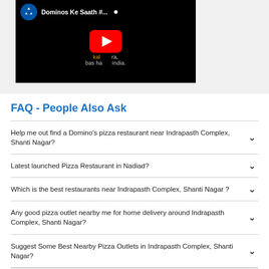[Figure (screenshot): YouTube video thumbnail showing Domino's pizza video titled 'Dominos Ke Saath #...' with YouTube play button in center on black background]
FAQ - People Also Ask
Help me out find a Domino's pizza restaurant near Indrapasth Complex, Shanti Nagar?
Latest launched Pizza Restaurant in Nadiad?
Which is the best restaurants near Indrapasth Complex, Shanti Nagar ?
Any good pizza outlet nearby me for home delivery around Indrapasth Complex, Shanti Nagar?
Suggest Some Best Nearby Pizza Outlets in Indrapasth Complex, Shanti Nagar?
Recommend Some Best Pizza Restaurants Near me?